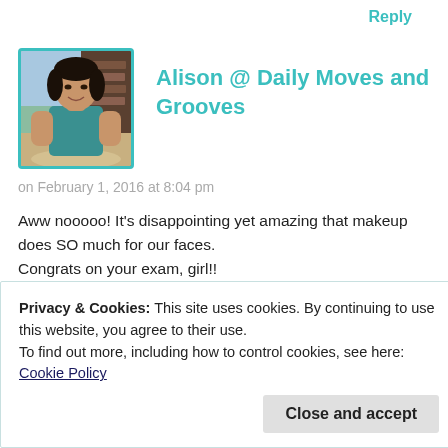Reply
[Figure (photo): Avatar photo of Alison, a woman wearing a teal top, smiling, with outdoor background]
Alison @ Daily Moves and Grooves
on February 1, 2016 at 8:04 pm
Aww nooooo! It's disappointing yet amazing that makeup does SO much for our faces.
Congrats on your exam, girl!!
Reply
Privacy & Cookies: This site uses cookies. By continuing to use this website, you agree to their use.
To find out more, including how to control cookies, see here: Cookie Policy
Close and accept